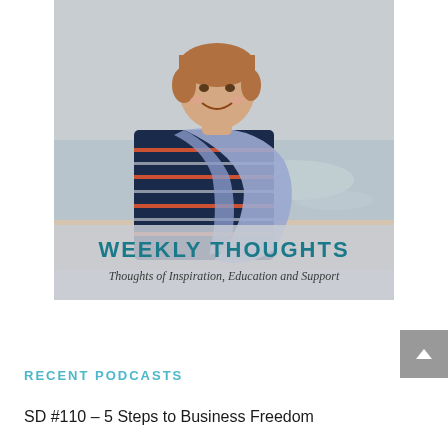[Figure (illustration): Podcast cover image showing a smiling middle-aged woman with short brown hair wearing a navy striped top and a light blue/lavender wrap/scarf, standing on a beach with ocean in background. Overlay text at bottom reads 'WEEKLY THOUGHTS' in bold teal and 'Thoughts of Inspiration, Education and Support' in cursive script.]
RECENT PODCASTS
SD #110 – 5 Steps to Business Freedom